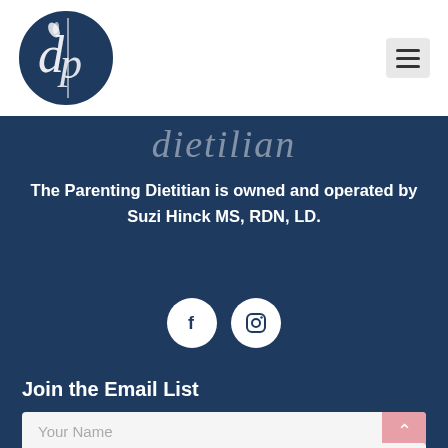[Figure (logo): Circular dark navy logo with stylized 'dp' letters and a leaf, for The Parenting Dietitian]
[Figure (other): Hamburger menu icon button (three horizontal lines) in a light gray rounded rectangle]
dietitian
The Parenting Dietitian is owned and operated by Suzi Hinck MS, RDN, LD.
[Figure (other): Social media icons: Facebook (f) and Instagram (camera) in white circles on dark navy background]
Join the Email List
Your Name